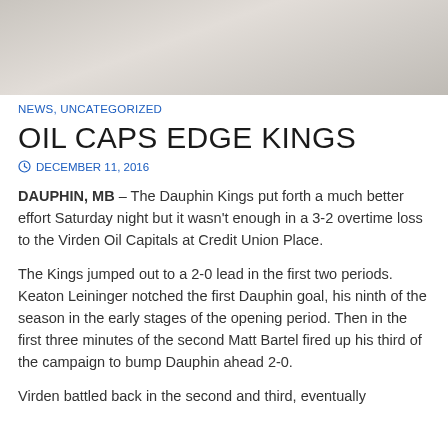[Figure (photo): Gray/beige textured background photo strip at top of page]
NEWS, UNCATEGORIZED
OIL CAPS EDGE KINGS
DECEMBER 11, 2016
DAUPHIN, MB – The Dauphin Kings put forth a much better effort Saturday night but it wasn't enough in a 3-2 overtime loss to the Virden Oil Capitals at Credit Union Place.
The Kings jumped out to a 2-0 lead in the first two periods. Keaton Leininger notched the first Dauphin goal, his ninth of the season in the early stages of the opening period. Then in the first three minutes of the second Matt Bartel fired up his third of the campaign to bump Dauphin ahead 2-0.
Virden battled back in the second and third, eventually